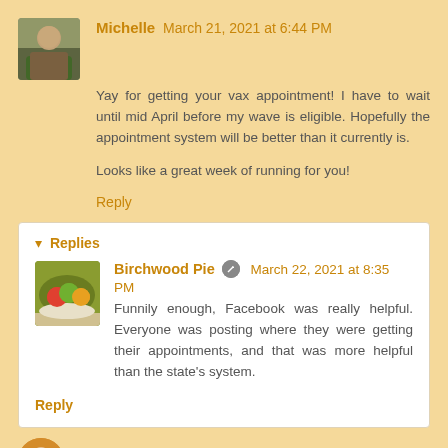Michelle March 21, 2021 at 6:44 PM
Yay for getting your vax appointment! I have to wait until mid April before my wave is eligible. Hopefully the appointment system will be better than it currently is.

Looks like a great week of running for you!
Reply
Replies
Birchwood Pie March 22, 2021 at 8:35 PM
Funnily enough, Facebook was really helpful. Everyone was posting where they were getting their appointments, and that was more helpful than the state's system.
Reply